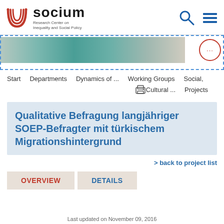[Figure (logo): SOCIUM Research Center on Inequality and Social Policy logo with red U-shaped symbol]
[Figure (photo): Partial photo strip showing papers/documents in blue/teal tones, with a dotted blue border overlay and a red circle more-options button]
Start   Departments   Dynamics of ...   Working Groups   Social, Cultural ...   Projects
Qualitative Befragung langjähriger SOEP-Befragter mit türkischem Migrationshintergrund
> back to project list
OVERVIEW   DETAILS
Last updated on November 09, 2016